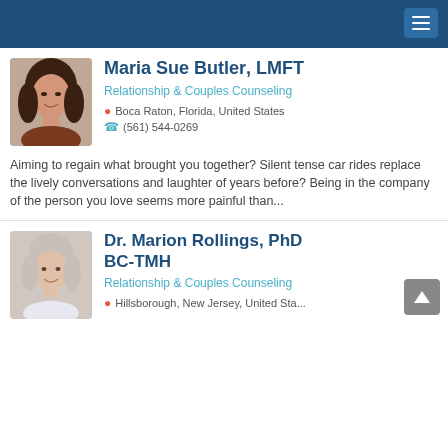Navigation header with menu button
Maria Sue Butler, LMFT
Relationship & Couples Counseling
Boca Raton, Florida, United States
(561) 544-0269
Aiming to regain what brought you together? Silent tense car rides replace the lively conversations and laughter of years before? Being in the company of the person you love seems more painful than...
[Figure (photo): Profile photo of Maria Sue Butler, a woman with dark hair]
Dr. Marion Rollings, PhD BC-TMH
Relationship & Couples Counseling
[Figure (photo): Profile photo of Dr. Marion Rollings, an older woman with light hair]